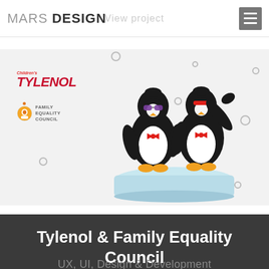MARS DESIGN | View project
[Figure (illustration): Illustration showing two cartoon penguins wearing bow ties and sunglasses standing on an ice block, with Children's Tylenol and Family Equality Council logos to the left, snowflakes/dots in the background on a light grey banner.]
Tylenol & Family Equality Council
UX, UI, Design & Development